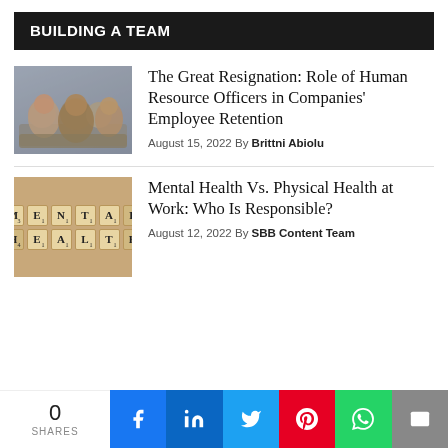BUILDING A TEAM
[Figure (photo): People sitting around a meeting table in an office, business meeting scene]
The Great Resignation: Role of Human Resource Officers in Companies' Employee Retention
August 15, 2022 By Brittni Abiolu
[Figure (photo): Scrabble tiles spelling MENTAL HEALTH on a wooden background]
Mental Health Vs. Physical Health at Work: Who Is Responsible?
August 12, 2022 By SBB Content Team